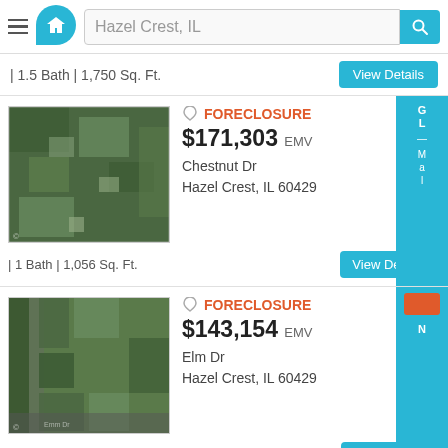Hazel Crest, IL
| 1.5 Bath | 1,750 Sq. Ft.
[Figure (photo): Aerial satellite view of residential neighborhood with trees and houses - Chestnut Dr listing]
FORECLOSURE $171,303 EMV
Chestnut Dr
Hazel Crest, IL 60429
| 1 Bath | 1,056 Sq. Ft.
[Figure (photo): Aerial satellite view of residential neighborhood - Elm Dr listing]
FORECLOSURE $143,154 EMV
Elm Dr
Hazel Crest, IL 60429